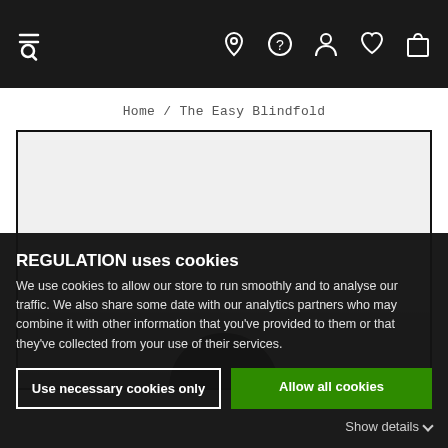Navigation bar with menu/search, location, help, account, wishlist, cart icons
Home / The Easy Blindfold
[Figure (photo): Product image area showing a light gray background with a dark rounded object at the bottom center, partially visible]
REGULATION uses cookies
We use cookies to allow our store to run smoothly and to analyse our traffic. We also share some date with our analytics partners who may combine it with other information that you've provided to them or that they've collected from your use of their services.
Use necessary cookies only
Allow all cookies
Show details